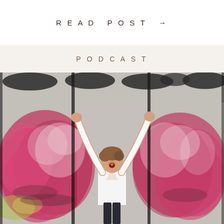READ POST →
PODCAST
[Figure (photo): A woman in a white long-sleeve top with arms raised joyfully, standing in front of a large mural of painted angel wings in shades of red, pink, and white on a grey concrete wall divided by vertical black lines.]